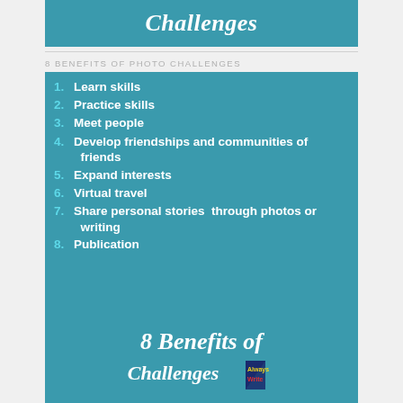Challenges
8 BENEFITS OF PHOTO CHALLENGES
1. Learn skills
2. Practice skills
3. Meet people
4. Develop friendships and communities of friends
5. Expand interests
6. Virtual travel
7. Share personal stories  through photos or writing
8. Publication
[Figure (photo): Rustic weathered wood planks with an old decorative iron hinge/bracket in center-right]
8 Benefits of Challenges